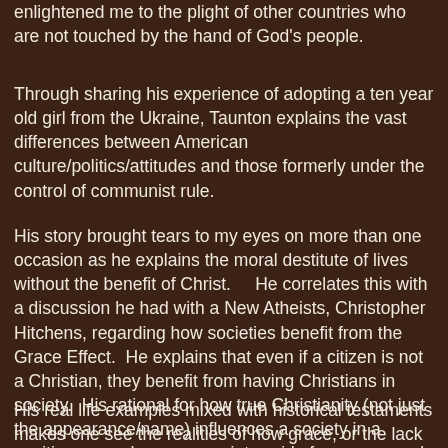enlightened me to the plight of other countries who are not touched by the hand of God's people.
Through sharing his experience of adopting a ten year old girl from the Ukraine, Taunton explains the vast differences between American culture/politics/attitudes and those formerly under the control of communist rule.
His story brought tears to my eyes on more than one occasion as he explains the moral destitute of lives without the benefit of Christ.    He correlates this with a discussion he had with a New Atheists, Christopher Hitchens, regarding how societies benefit from the Grace Effect.  He explains that even if a citizen is not a Christian, they benefit from having Christians in society.  His rational for how true Christianity (not just the appearance/name) influences a society in a positive way, whereas a society void of grace can only bring despair and the eventual down fall of that society.
His real life examples mixed with historical testaments makes one see the realities of how grace, or the lack